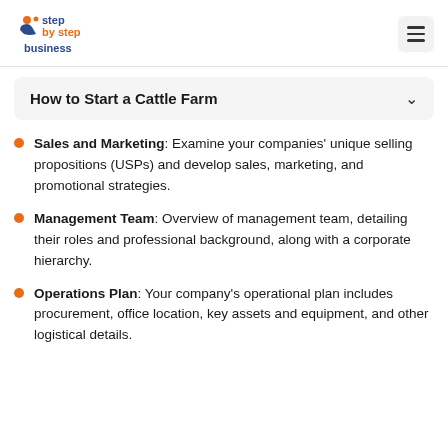step by step business
How to Start a Cattle Farm
Sales and Marketing: Examine your companies' unique selling propositions (USPs) and develop sales, marketing, and promotional strategies.
Management Team: Overview of management team, detailing their roles and professional background, along with a corporate hierarchy.
Operations Plan: Your company's operational plan includes procurement, office location, key assets and equipment, and other logistical details.